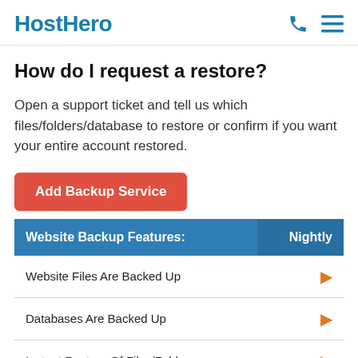HostHero
How do I request a restore?
Open a support ticket and tell us which files/folders/database to restore or confirm if you want your entire account restored.
Add Backup Service
| Website Backup Features: | Nightly |
| --- | --- |
| Website Files Are Backed Up | ✓ |
| Databases Are Backed Up | ✓ |
| Instant Restore Of Files/Folders | ✓ |
|  |  |